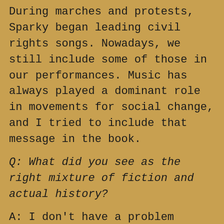During marches and protests, Sparky began leading civil rights songs. Nowadays, we still include some of those in our performances. Music has always played a dominant role in movements for social change, and I tried to include that message in the book.
Q: What did you see as the right mixture of fiction and actual history?
A: I don't have a problem changing facts a little if there is a good reason. In the past, when Sparky told